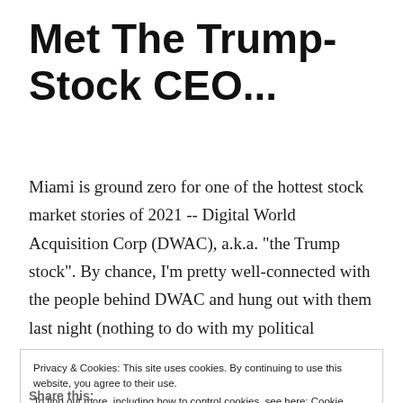Met The Trump-Stock CEO...
Miami is ground zero for one of the hottest stock market stories of 2021 -- Digital World Acquisition Corp (DWAC), a.k.a. "the Trump stock". By chance, I'm pretty well-connected with the people behind DWAC and hung out with them last night (nothing to do with my political leaning... it was all business). As always, I ...
Privacy & Cookies: This site uses cookies. By continuing to use this website, you agree to their use. To find out more, including how to control cookies, see here: Cookie Policy
Share this: